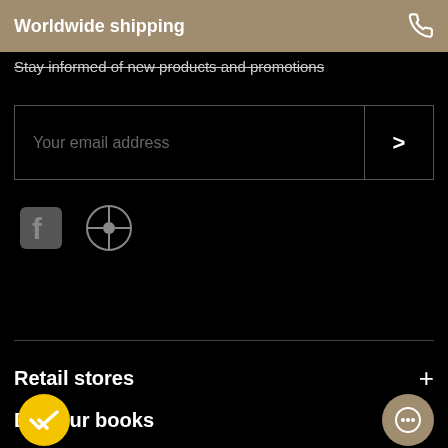Worldwide shipping
Stay informed of new products and promotions
Your email address
Retail stores
Buy our books
Professionals
Catalogues